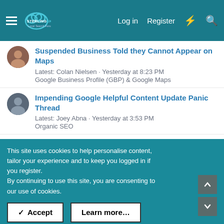Sterling Sky Local Search Forum — Log in | Register
Suspended Business Told they Cannot Appear on Maps
Latest: Colan Nielsen · Yesterday at 8:23 PM
Google Business Profile (GBP) & Google Maps
Impending Google Helpful Content Update Panic Thread
Latest: Joey Abna · Yesterday at 3:53 PM
Organic SEO
GBP Verification for Law Firm, Postcards Don't Arrive, No Storefront
Latest: JeffClevelandTN · Yesterday at 3:24 PM
Help & Support for Google Local
Location Spam in Business Name
Latest: Colan Nielsen · Yesterday at 11:57 AM
This site uses cookies to help personalise content, tailor your experience and to keep you logged in if you register.
By continuing to use this site, you are consenting to our use of cookies.